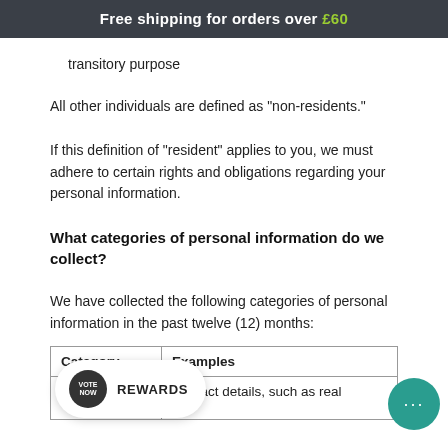Free shipping for orders over £60
transitory purpose
All other individuals are defined as "non-residents."
If this definition of "resident" applies to you, we must adhere to certain rights and obligations regarding your personal information.
What categories of personal information do we collect?
We have collected the following categories of personal information in the past twelve (12) months:
| Category | Examples |
| --- | --- |
|  | Contact details, such as real |